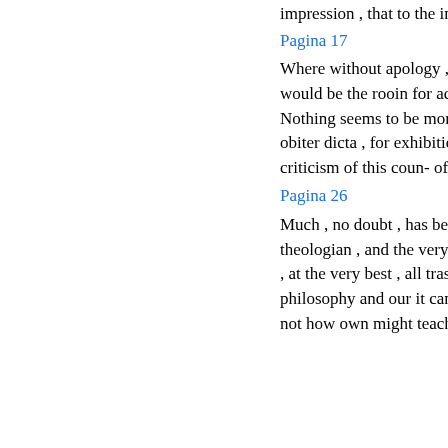impression , that to the invading armies .
Pagina 17
Where without apology , to a general considera- would be the rooin for acrid recrimination , tion . Nothing seems to be more lacking to for slovenly obiter dicta , for exhibitions the ordinary literary criticism of this coun- of ...
Pagina 26
Much , no doubt , has been achieved tion of the theologian , and the very con- by that method ; but , at the very best , all trast between their philosophy and our it can teach us is what man is , not how own might teach